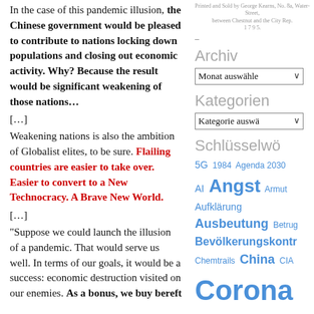In the case of this pandemic illusion, the Chinese government would be pleased to contribute to nations locking down populations and closing out economic activity. Why? Because the result would be significant weakening of those nations…
[…]
Weakening nations is also the ambition of Globalist elites, to be sure. Flailing countries are easier to take over. Easier to convert to a New Technocracy. A Brave New World.
[…]
“Suppose we could launch the illusion of a pandemic. That would serve us well. In terms of our goals, it would be a success: economic destruction visited on our enemies. As a bonus, we buy bereft
Archiv
Monat auswählen
Kategorien
Kategorie auswä
Schlüsselwö
5G 1984 Agenda 2030 AI Angst Armut Aufklärung Ausbeutung Betrug Bevölkerungskontr Chemtrails China CIA Corona Demokratie Desinfo Deutschland Diktatur divide et impera Energie EU Eugenik Europa Existenz Fakten